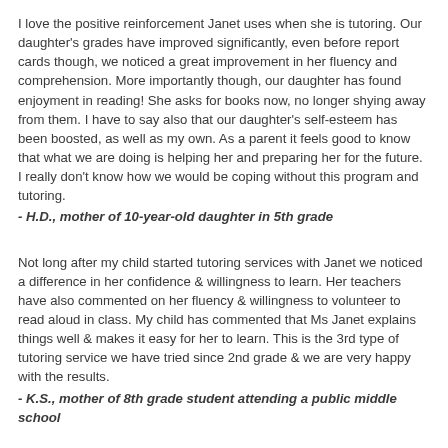I love the positive reinforcement Janet uses when she is tutoring. Our daughter's grades have improved significantly, even before report cards though, we noticed a great improvement in her fluency and comprehension. More importantly though, our daughter has found enjoyment in reading! She asks for books now, no longer shying away from them. I have to say also that our daughter's self-esteem has been boosted, as well as my own. As a parent it feels good to know that what we are doing is helping her and preparing her for the future.  I really don't know how we would be coping without this program and tutoring.
- H.D., mother of 10-year-old daughter in 5th grade
Not long after my child started tutoring services with Janet we noticed a difference in her confidence & willingness to learn. Her teachers have also commented on her fluency & willingness to volunteer to read aloud in class. My child has commented that Ms Janet explains things well & makes it easy for her to learn. This is the 3rd type of tutoring service we have tried since 2nd grade & we are very happy with the results.
- K.S., mother of 8th grade student attending a public middle school